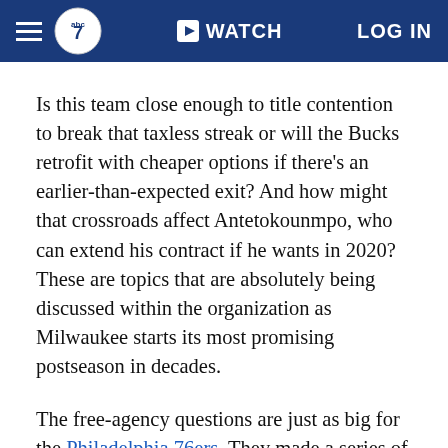ABC7 | WATCH | LOG IN
Is this team close enough to title contention to break that taxless streak or will the Bucks retrofit with cheaper options if there's an earlier-than-expected exit? And how might that crossroads affect Antetokounmpo, who can extend his contract if he wants in 2020? These are topics that are absolutely being discussed within the organization as Milwaukee starts its most promising postseason in decades.
The free-agency questions are just as big for the Philadelphia 76ers. They made a series of trades to take a huge swing this season. Their big-name starting